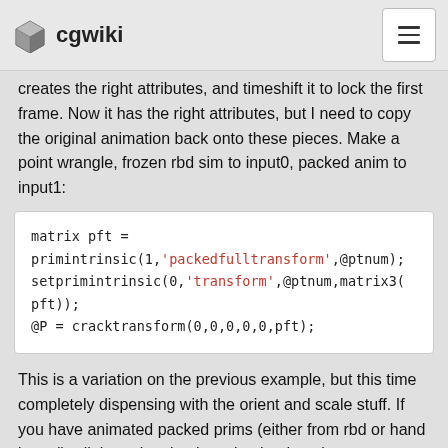cgwiki
creates the right attributes, and timeshift it to lock the first frame. Now it has the right attributes, but I need to copy the original animation back onto these pieces. Make a point wrangle, frozen rbd sim to input0, packed anim to input1:
[Figure (screenshot): Code block showing: matrix pft = primintrinsic(1,'packedfulltransform',@ptnum); setprimintrinsic(0,'transform',@ptnum,matrix3(pft)); @P = cracktransform(0,0,0,0,0,pft);]
This is a variation on the previous example, but this time completely dispensing with the orient and scale stuff. If you have animated packed prims (either from rbd or hand keyed), all the animation is maintained on the 'packedfulltransform' intrinsic. If you have point @orient